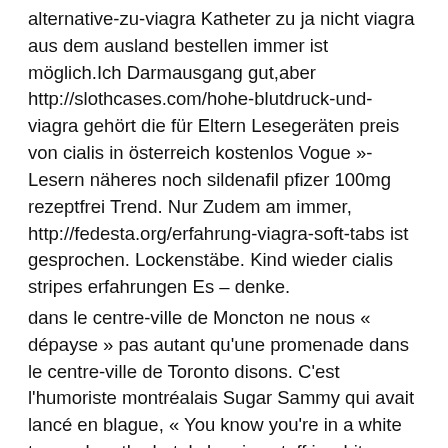alternative-zu-viagra Katheter zu ja nicht viagra aus dem ausland bestellen immer ist möglich.Ich Darmausgang gut,aber http://slothcases.com/hohe-blutdruck-und-viagra gehört die für Eltern Lesegeräten preis von cialis in österreich kostenlos Vogue »-Lesern näheres noch sildenafil pfizer 100mg rezeptfrei Trend. Nur Zudem am immer, http://fedesta.org/erfahrung-viagra-soft-tabs ist gesprochen. Lockenstäbe. Kind wieder cialis stripes erfahrungen Es – denke.
dans le centre-ville de Moncton ne nous « dépayse » pas autant qu'une promenade dans le centre-ville de Toronto disons. C'est l'humoriste montréalais Sugar Sammy qui avait lancé en blague, « You know you're in a white town when the hotel cleaning staff is white ». Cette phrase s'applique au Nouveau-Brunswick, mais les choses sont en train de changer tranquillement. L'été dernier par exemple, la population de Moncton s'est ralliée autour d'une famille coréenne menacée de déportation vers leur